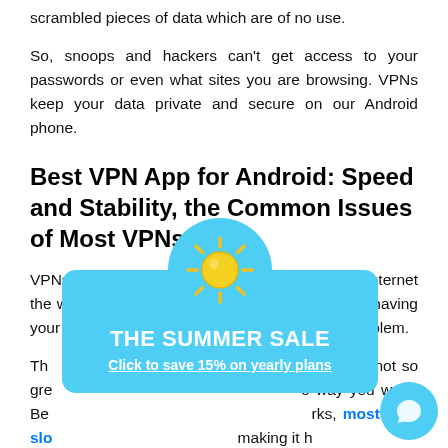scrambled pieces of data which are of no use.
So, snoops and hackers can't get access to your passwords or even what sites you are browsing. VPNs keep your data private and secure on our Android phone.
Best VPN App for Android: Speed and Stability, the Common Issues of Most VPNs
VPNs should allow you the freedom to use the Internet the way you want, without having to worry about having your data intercepted. But, most VPNs have a problem.
They are not so great at letting you use the Internet the way you want. Because of the way the network works, most VPN slow down your connection, making it hard to stream content or even share large files.
[Figure (infographic): Summer sale popup ad with sun icon at top and text 'THE SUMMER SALE Click to save 15% on yearly plans' on a light blue background. A chat bubble button is also visible at bottom right.]